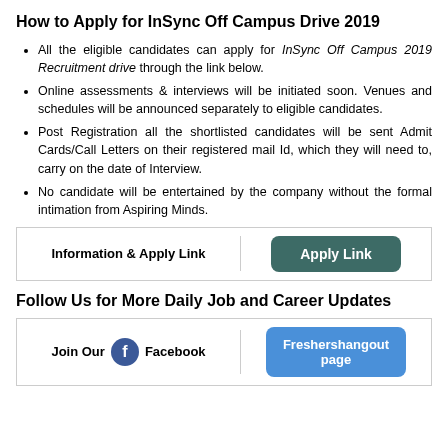How to Apply for InSync Off Campus Drive 2019
All the eligible candidates can apply for InSync Off Campus 2019 Recruitment drive through the link below.
Online assessments & interviews will be initiated soon. Venues and schedules will be announced separately to eligible candidates.
Post Registration all the shortlisted candidates will be sent Admit Cards/Call Letters on their registered mail Id, which they will need to, carry on the date of Interview.
No candidate will be entertained by the company without the formal intimation from Aspiring Minds.
| Information & Apply Link | Apply Link |
| --- | --- |
Follow Us for More Daily Job and Career Updates
| Join Our Facebook | Freshershangout page |
| --- | --- |